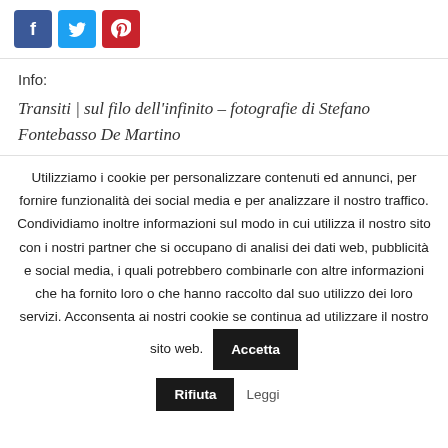[Figure (other): Social share buttons: Facebook (blue), Twitter (cyan), Pinterest (red)]
Info:
Transiti | sul filo dell’infinito – fotografie di Stefano Fontebasso De Martino
Utilizziamo i cookie per personalizzare contenuti ed annunci, per fornire funzionalità dei social media e per analizzare il nostro traffico. Condividiamo inoltre informazioni sul modo in cui utilizza il nostro sito con i nostri partner che si occupano di analisi dei dati web, pubblicità e social media, i quali potrebbero combinarle con altre informazioni che ha fornito loro o che hanno raccolto dal suo utilizzo dei loro servizi. Acconsenta ai nostri cookie se continua ad utilizzare il nostro sito web.
Accetta
Rifiuta
Leggi